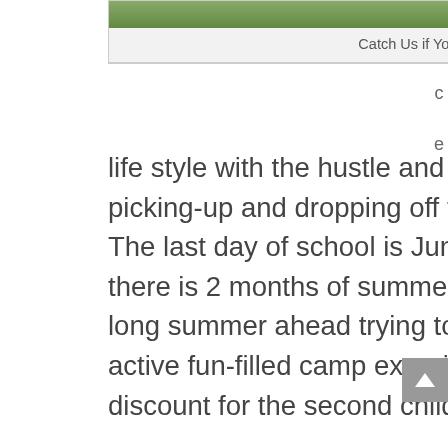[Figure (photo): Photo of children at summer camp outdoors on grass]
Catch Us if You Can Summer Camp
a
c
e
life style with the hustle and bustle of work, running errands and picking-up and dropping off the kids, time seems to just quickly fly by. The last day of school is June 26, that’s months away. Then suddenly there is 2 months of summer. Don’t be caught at the last-minute with a long summer ahead trying to fill your child’s summer schedule with an active fun-filled camp experience. Did I mention, there is a 10% discount for the second child when both children attend